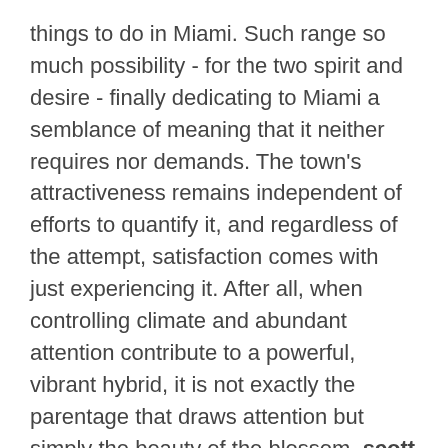things to do in Miami. Such range so much possibility - for the two spirit and desire - finally dedicating to Miami a semblance of meaning that it neither requires nor demands. The town's attractiveness remains independent of efforts to quantify it, and regardless of the attempt, satisfaction comes with just experiencing it. After all, when controlling climate and abundant attention contribute to a powerful, vibrant hybrid, it is not exactly the parentage that draws attention but simply the beauty of the blossom. scott cooper movies is what makes Miami and Florida so special.
The Scott Cooper Miami Scholarship